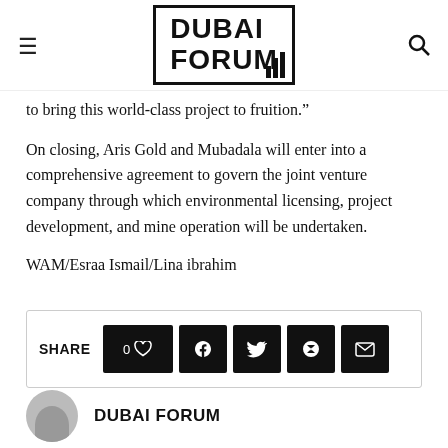DUBAI FORUM
to bring this world-class project to fruition.”
On closing, Aris Gold and Mubadala will enter into a comprehensive agreement to govern the joint venture company through which environmental licensing, project development, and mine operation will be undertaken.
WAM/Esraa Ismail/Lina ibrahim
SHARE  0 ♥  f  🐦  📀  ✉
DUBAI FORUM